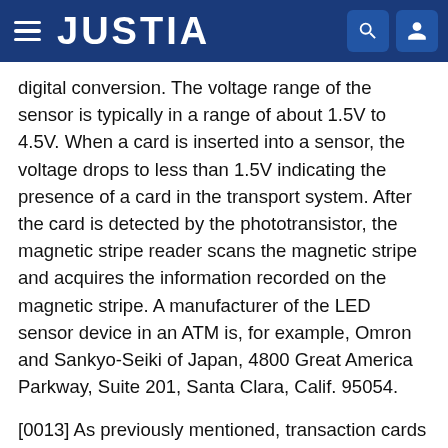JUSTIA
digital conversion. The voltage range of the sensor is typically in a range of about 1.5V to 4.5V. When a card is inserted into a sensor, the voltage drops to less than 1.5V indicating the presence of a card in the transport system. After the card is detected by the phototransistor, the magnetic stripe reader scans the magnetic stripe and acquires the information recorded on the magnetic stripe. A manufacturer of the LED sensor device in an ATM is, for example, Omron and Sankyo-Seiki of Japan, 4800 Great America Parkway, Suite 201, Santa Clara, Calif. 95054.
[0013] As previously mentioned, transaction cards and readers typically follow various ISO standards which specifically set forth the location of card data and compounds. However, because numerous companies produce different versions of ATMs, the location of the